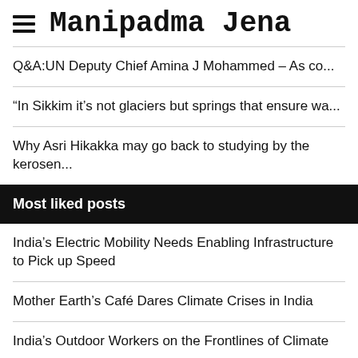Manipadma Jena
Q&A:UN Deputy Chief Amina J Mohammed – As co...
“In Sikkim it’s not glaciers but springs that ensure wa...
Why Asri Hikakka may go back to studying by the kerosen...
Most liked posts
India’s Electric Mobility Needs Enabling Infrastructure to Pick up Speed
Mother Earth’s Café Dares Climate Crises in India
India’s Outdoor Workers on the Frontlines of Climate